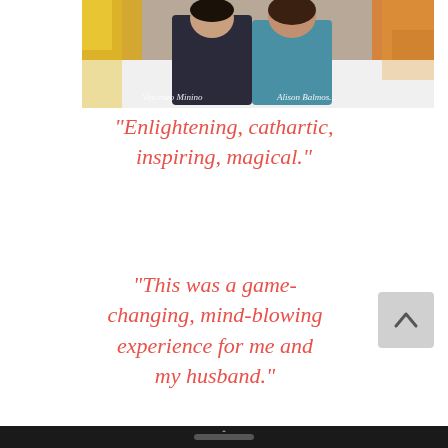[Figure (photo): Two people sitting together on a colorful couch with patterned pillows. Text overlay reads 'Vincenzo Minino' and 'Alison Balmos...']
"Enlightening, cathartic, inspiring, magical."
"This was a game-changing, mind-blowing experience for me and my husband."